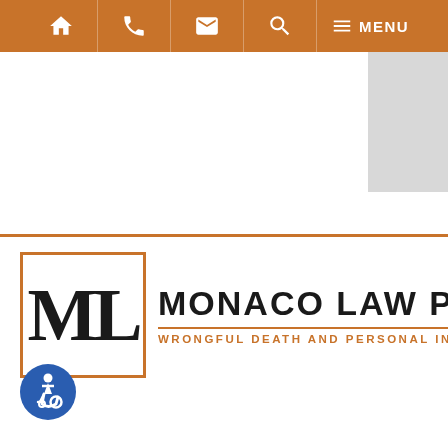[Figure (screenshot): Navigation bar with orange background containing home, phone, email, search, and menu icons]
[Figure (logo): Monaco Law PC logo — stylized ML monogram in orange-bordered box, firm name in dark text, subtitle 'WRONGFUL DEATH AND PERSONAL INJURY LAW FIRM' in orange]
[Figure (illustration): Accessibility (wheelchair) icon — blue circle with white wheelchair symbol]